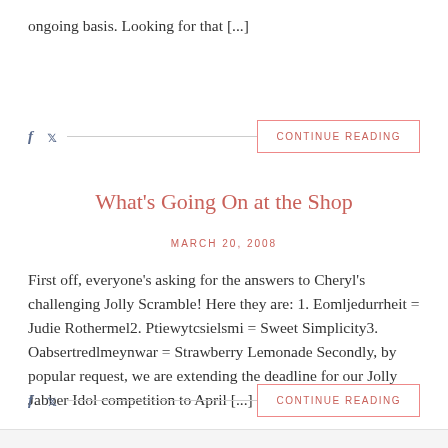ongoing basis. Looking for that [...]
CONTINUE READING
What's Going On at the Shop
MARCH 20, 2008
First off, everyone's asking for the answers to Cheryl's challenging Jolly Scramble! Here they are: 1. Eomljedurrheit = Judie Rothermel2. Ptiewytcsielsmi = Sweet Simplicity3. Oabsertredlmeynwar = Strawberry Lemonade Secondly, by popular request, we are extending the deadline for our Jolly Jabber Idol competition to April [...]
CONTINUE READING